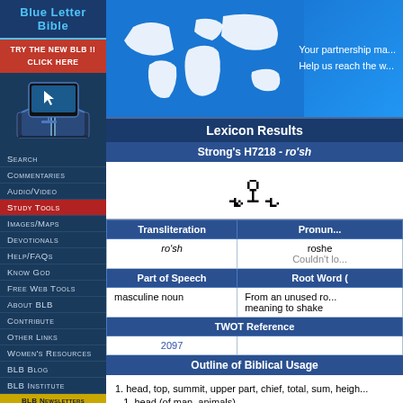Blue Letter Bible
TRY THE NEW BLB !!
CLICK HERE
[Figure (screenshot): Blue Letter Bible logo with open book and cursor icon]
Search
Commentaries
Audio/Video
Study Tools
Images/Maps
Devotionals
Help/FAQs
Know God
Free Web Tools
About BLB
Contribute
Other Links
Women's Resources
BLB Blog
BLB Institute
[Figure (illustration): World map banner with text: Your partnership ma... Help us reach the w...]
Lexicon Results
Strong's H7218 - ro'sh
ראש
| Transliteration | Pronun... |
| --- | --- |
| ro'sh | roshe
Couldn't lo... |
| Part of Speech | Root Word ( |
| masculine noun | From an unused ro... meaning to shake |
| TWOT Reference |  |
| 2097 |  |
Outline of Biblical Usage
1. head, top, summit, upper part, chief, total, sum, heigh...
1. head (of man, animals)
BLB Newsletters